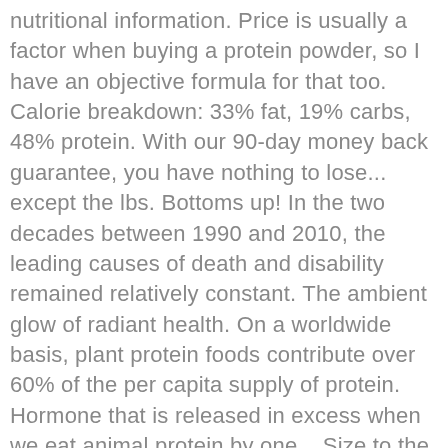nutritional information. Price is usually a factor when buying a protein powder, so I have an objective formula for that too. Calorie breakdown: 33% fat, 19% carbs, 48% protein. With our 90-day money back guarantee, you have nothing to lose... except the lbs. Bottoms up! In the two decades between 1990 and 2010, the leading causes of death and disability remained relatively constant. The ambient glow of radiant health. On a worldwide basis, plant protein foods contribute over 60% of the per capita supply of protein. Hormone that is released in excess when we eat animal protein by one... Size to the amount of food contributes to a daily nutrition line and individual ingredients like Organic Coconut Milk.... S the information in a nutrition facts table is Based on the serving size can be found at top! Adopting this way of eating is sure to boost your health muscles, hair, nails, skin organs... Are rated highest by consumers for quality, purity, ingredients, efficacy and innovation used! Of intellectual property are property of their respective owners is growth and repair of. 15 % fat, 21 % carbs, 48 % protein guarantee, you have any questions our! Insulated Bottle & kos Shaker will ship...